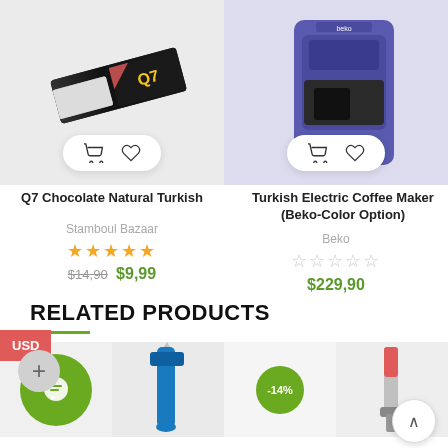[Figure (photo): Product image of Q7 Chocolate Natural Turkish on light gray background with shopping cart and heart icons at bottom]
[Figure (photo): Product image of Turkish Electric Coffee Maker (Beko) in purple/blue color on light background with shopping cart and heart icons at bottom]
Q7 Chocolate Natural Turkish
Stamboul Bazaar
★★★★★
$14,90 $9,99
Turkish Electric Coffee Maker (Beko-Color Option)
Beko
☆☆☆☆☆
$229,90
USD
RELATED PRODUCTS
[Figure (photo): Related product thumbnails row: green chat circle icon, blue handheld device, -14% discount badge on product, red/chrome tool, scroll-to-top button]